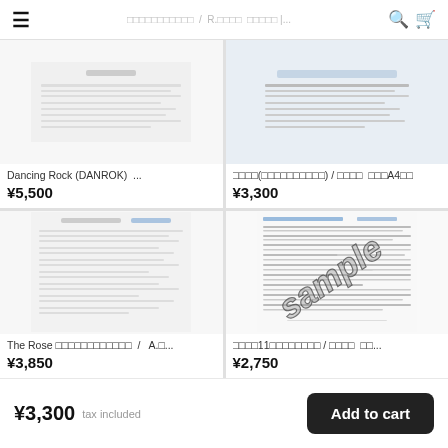≡  □□□□□□□□□□□  /  R.□□□□  □□□□□ |...  🔍  🛒
Dancing Rock (DANROK)  ...
¥5,500
□□□□(□□□□□□□□□□) / □□□□  □□□A4□□
¥3,300
[Figure (screenshot): Sheet music thumbnail preview (blurred/small)]
The Rose □□□□□□□□□□□□  /  A.□...
¥3,850
[Figure (screenshot): Sheet music thumbnail with 'sample' watermark diagonal text]
□□□□11□□□□□□□□ / □□□□  □□...
¥2,750
¥3,300  tax included    Add to cart